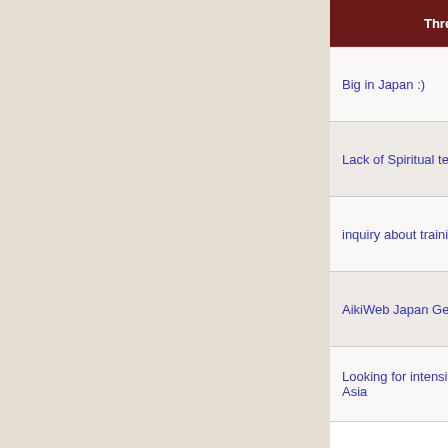| Thread | Thread Starter | Forum | Replies | Last Post |
| --- | --- | --- | --- | --- |
| Big in Japan :) | kocakb | General | 3 | 11-03-2004 07:5... AM |
| Lack of Spiritual teaching in Japan? | nekobaka | Spiritual | 12 | 12-02-2004 09:0... PM |
| inquiry about training in japan | Aleks Sizikov | General | 2 | 03-09-2004 11:3... PM |
| AikiWeb Japan Get-Together? | akiy | Seminars | 2 | 07-01-2003 08:2... PM |
| Looking for intensive courses in SE Asia | John Yeldham | General | 5 | 03-25-2003 02:1... AM |
All times are GMT -6. The time now is 05:05 PM.
Contact Us - AikiWeb Aikido Information - Archive - Privacy Statement - Top
vBulletin Copyright © 2000-2022 Jelsoft Enterprises Limited